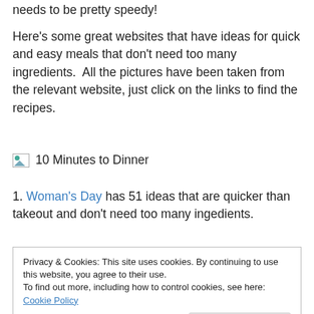needs to be pretty speedy!
Here's some great websites that have ideas for quick and easy meals that don't need too many ingredients.  All the pictures have been taken from the relevant website, just click on the links to find the recipes.
[Figure (illustration): Broken image placeholder icon followed by text '10 Minutes to Dinner']
1. Woman's Day has 51 ideas that are quicker than takeout and don't need too many ingedients.
Privacy & Cookies: This site uses cookies. By continuing to use this website, you agree to their use.
To find out more, including how to control cookies, see here: Cookie Policy
Close and accept